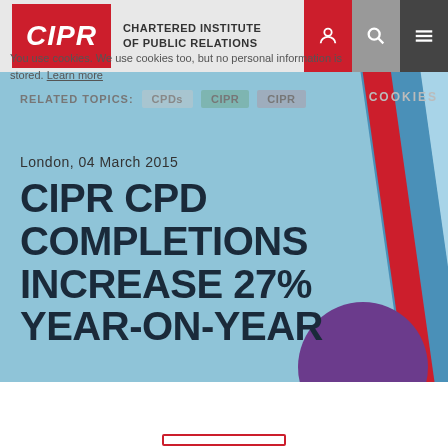CIPR — CHARTERED INSTITUTE OF PUBLIC RELATIONS
You use cookies. We use cookies too, but no personal information is stored. Learn more
RELATED TOPICS: CPDs   CIPR   CIPR
COOKIES
London, 04 March 2015
CIPR CPD COMPLETIONS INCREASE 27% YEAR-ON-YEAR